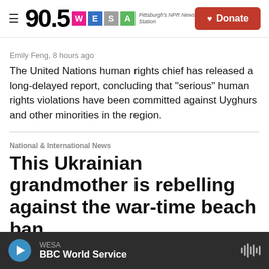90.5 WESA — Pittsburgh's NPR News Station
Emily Feng,  8 hours ago
The United Nations human rights chief has released a long-delayed report, concluding that "serious" human rights violations have been committed against Uyghurs and other minorities in the region.
National & International News
This Ukrainian grandmother is rebelling against the war-time beach ban
Joanna Kakissis,  12 hours ago
WESA — BBC World Service